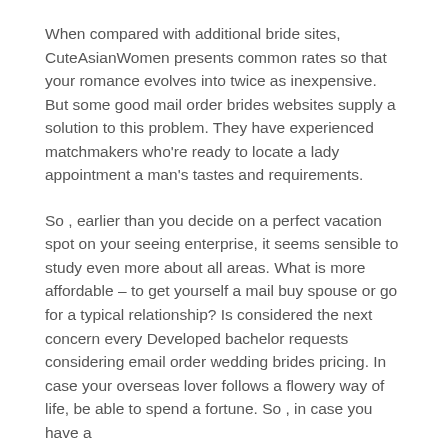When compared with additional bride sites, CuteAsianWomen presents common rates so that your romance evolves into twice as inexpensive. But some good mail order brides websites supply a solution to this problem. They have experienced matchmakers who're ready to locate a lady appointment a man's tastes and requirements.
So , earlier than you decide on a perfect vacation spot on your seeing enterprise, it seems sensible to study even more about all areas. What is more affordable – to get yourself a mail buy spouse or go for a typical relationship? Is considered the next concern every Developed bachelor requests considering email order wedding brides pricing. In case your overseas lover follows a flowery way of life, be able to spend a fortune. So , in case you have a